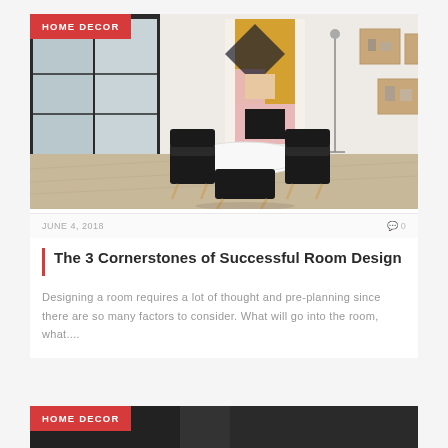[Figure (photo): Interior room photo showing a modern dining area with black chairs around a white round table, colorful geometric artwork on the wall, wooden wall-mounted shelves, and large windows]
HOME DECOR
JUNE 4, 2018
0
The 3 Cornerstones of Successful Room Design
Designing a room requires a lot of thought and pre-planning since there are so many factors to consider. What will go into the room, what....
[Figure (photo): Partial view of a second article card with HOME DECOR badge and dark background image]
HOME DECOR